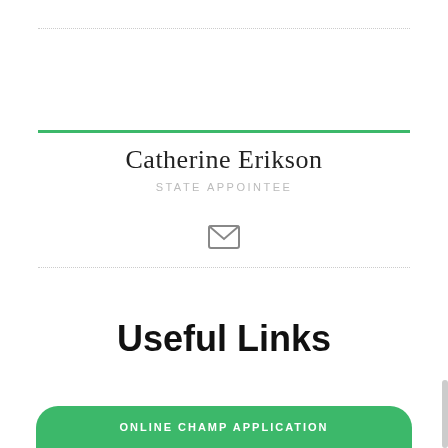Catherine Erikson
STATE APPOINTEE
[Figure (illustration): Email envelope icon]
Useful Links
ONLINE CHAMP APPLICATION